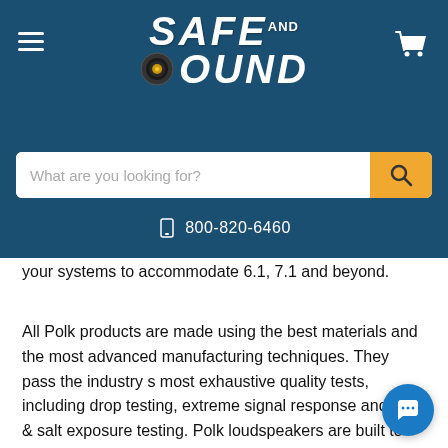Safe and Sound — header with logo, hamburger menu, cart icon, search bar, phone number 800-820-6460
your systems to accommodate 6.1, 7.1 and beyond.
All Polk products are made using the best materials and the most advanced manufacturing techniques. They pass the industry s most exhaustive quality tests, including drop testing, extreme signal response and UV & salt exposure testing. Polk loudspeakers are built to perform for a lifetime.